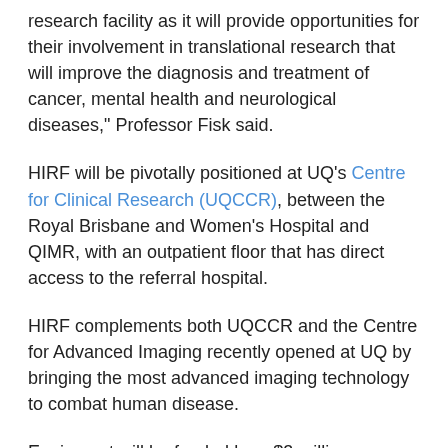...Patients will significantly benefit from the imaging research facility as it will provide opportunities for their involvement in translational research that will improve the diagnosis and treatment of cancer, mental health and neurological diseases," Professor Fisk said.
HIRF will be pivotally positioned at UQ's Centre for Clinical Research (UQCCR), between the Royal Brisbane and Women's Hospital and QIMR, with an outpatient floor that has direct access to the referral hospital.
HIRF complements both UQCCR and the Centre for Advanced Imaging recently opened at UQ by bringing the most advanced imaging technology to combat human disease.
Equipment will be funded by a $3 million Queensland Government grant, in addition to Commonwealth, industry and partner contributions and a $2 million grant from the Australian Cancer Research Foundation...